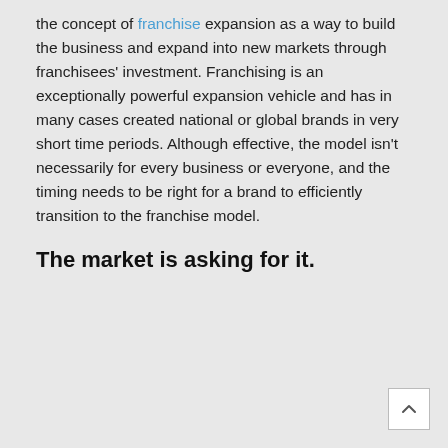the concept of franchise expansion as a way to build the business and expand into new markets through franchisees' investment. Franchising is an exceptionally powerful expansion vehicle and has in many cases created national or global brands in very short time periods. Although effective, the model isn't necessarily for every business or everyone, and the timing needs to be right for a brand to efficiently transition to the franchise model.
The market is asking for it.